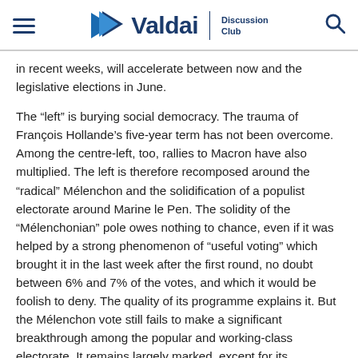Valdai Discussion Club
in recent weeks, will accelerate between now and the legislative elections in June.
The “left” is burying social democracy. The trauma of François Hollande’s five-year term has not been overcome. Among the centre-left, too, rallies to Macron have also multiplied. The left is therefore recomposed around the “radical” Mélenchon and the solidification of a populist electorate around Marine le Pen. The solidity of the “Mélenchonian” pole owes nothing to chance, even if it was helped by a strong phenomenon of “useful voting” which brought it in the last week after the first round, no doubt between 6% and 7% of the votes, and which it would be foolish to deny. The quality of its programme explains it. But the Mélenchon vote still fails to make a significant breakthrough among the popular and working-class electorate. It remains largely marked, except for its “communitarian” dimension, which in reality does not exceed 2.5% to 3%, by the intellectual middle classes. The reason for this is its inability to